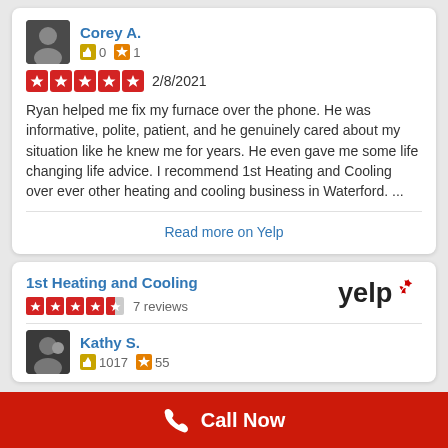Corey A.
0 friends · 1 compliment
5 stars · 2/8/2021
Ryan helped me fix my furnace over the phone. He was informative, polite, patient, and he genuinely cared about my situation like he knew me for years. He even gave me some life changing life advice. I recommend 1st Heating and Cooling over ever other heating and cooling business in Waterford. ...
Read more on Yelp
1st Heating and Cooling
7 reviews
Kathy S.
1017 · 55
Call Now